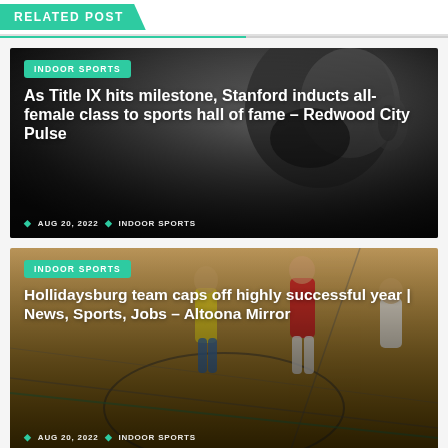RELATED POST
[Figure (photo): Black and white close-up photo of a person (athlete) looking down]
As Title IX hits milestone, Stanford inducts all-female class to sports hall of fame – Redwood City Pulse
AUG 20, 2022   INDOOR SPORTS
[Figure (photo): Color photo of children playing indoor soccer on a gymnasium court]
Hollidaysburg team caps off highly successful year | News, Sports, Jobs – Altoona Mirror
AUG 20, 2022   INDOOR SPORTS